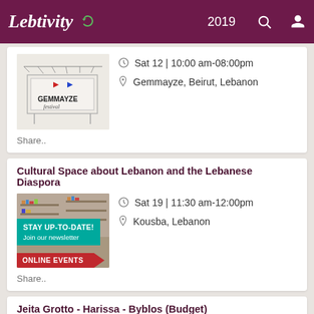Lebtivity 2019
[Figure (photo): Gemmayze Festival event photo - sketch/illustration style image with festival setup]
Sat 12 | 10:00 am-08:00pm
Gemmayze, Beirut, Lebanon
Share..
Cultural Space about Lebanon and the Lebanese Diaspora
[Figure (photo): Indoor cultural space photo with banner overlays: STAY UP-TO-DATE! Join our newsletter and ONLINE EVENTS]
Sat 19 | 11:30 am-12:00pm
Kousba, Lebanon
Share..
Jeita Grotto - Harissa - Byblos (Budget)
Tue 01 | 08:30 am-04:00pm